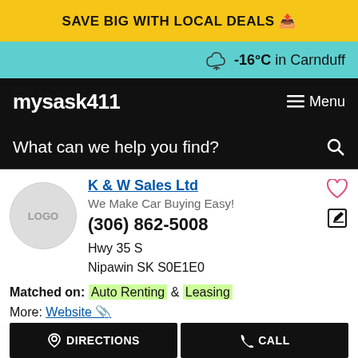SAVE BIG WITH LOCAL DEALS
-16°C in Carnduff
mysask411  Menu
What can we help you find?
K & W Sales Ltd
We Make Car Buying Easy!
(306) 862-5008
Hwy 35 S
Nipawin SK S0E1E0
Matched on: Auto Renting & Leasing
More: Website
DIRECTIONS  CALL